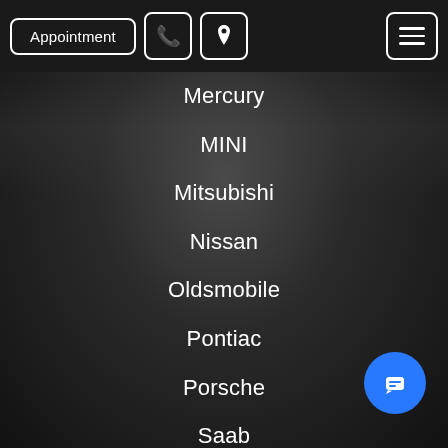Appointment | Phone | Location | Menu
Mercury
MINI
Mitsubishi
Nissan
Oldsmobile
Pontiac
Porsche
Saab
Saturn
Scion